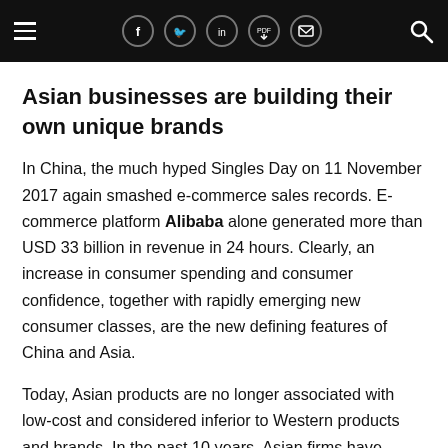Navigation bar with hamburger menu, social icons (Facebook, Twitter, LinkedIn, PDF, email), and search icon
Asian businesses are building their own unique brands
In China, the much hyped Singles Day on 11 November 2017 again smashed e-commerce sales records. E-commerce platform Alibaba alone generated more than USD 33 billion in revenue in 24 hours. Clearly, an increase in consumer spending and consumer confidence, together with rapidly emerging new consumer classes, are the new defining features of China and Asia.
Today, Asian products are no longer associated with low-cost and considered inferior to Western products and brands. In the past 10 years, Asian firms have realized that they need to move up the value curve and one way to do